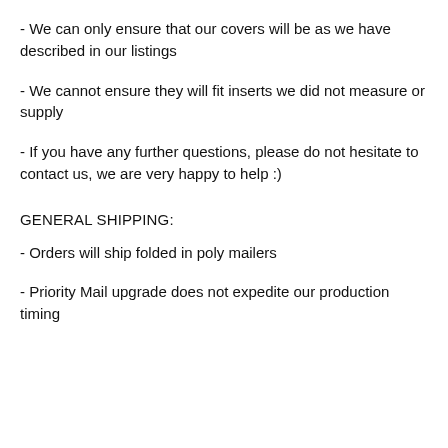- We can only ensure that our covers will be as we have described in our listings
- We cannot ensure they will fit inserts we did not measure or supply
- If you have any further questions, please do not hesitate to contact us, we are very happy to help :)
GENERAL SHIPPING:
- Orders will ship folded in poly mailers
- Priority Mail upgrade does not expedite our production timing